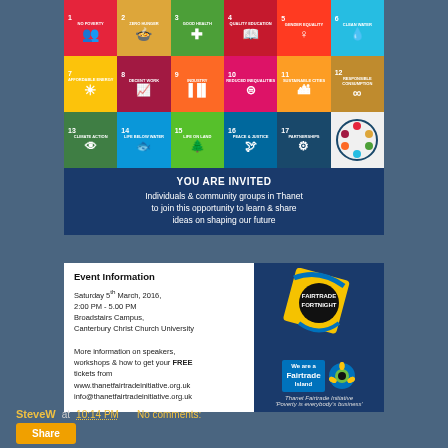[Figure (infographic): UN Sustainable Development Goals grid showing 17 colored icons arranged in 3 rows of 6 (with last cell being SDGs partnership logo). Each cell has a number, title text and icon on colored background.]
YOU ARE INVITED
Individuals & community groups in Thanet to join this opportunity to learn & share ideas on shaping our future
Event Information
Saturday 5th March, 2016,
2:00 PM - 5.00 PM
Broadstairs Campus,
Canterbury Christ Church University

More information on speakers, workshops & how to get your FREE tickets from
www.thanetfairtradeinitiative.org.uk
info@thanetfairtradeinitiative.org.uk
[Figure (logo): Fairtrade Fortnight badge (yellow diamond with black circle), We are a Fairtrade Island logo, and Fairtrade sunflower mark. Caption: Thanet Fairtrade Initiative 'Poverty is everybody's business']
SteveW at 10:14 PM    No comments: